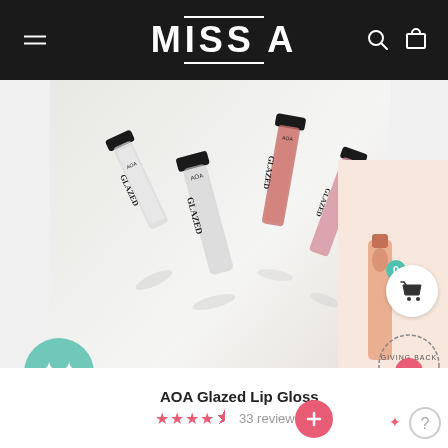MISS A
[Figure (photo): Four AOA Glazed lip gloss tubes arranged on a white/light gray background. Two clear/white glosses and two pink/coral colored glosses, each with black caps and 'AOA GLAZED' branding on tubes.]
[Figure (photo): Partial view of a peach/nude lipstick or lip product on right edge of page.]
AOA Glazed Lip Gloss
★★★★½ 33 reviews